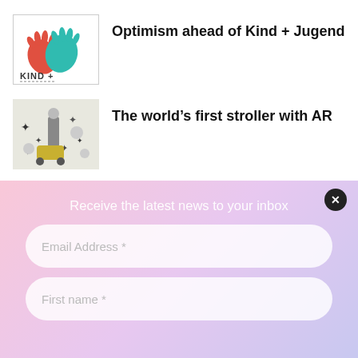[Figure (logo): Kind + Jugend logo with colourful handprints]
Optimism ahead of Kind + Jugend
[Figure (photo): Person with stroller in front of illustrated wall mural with cartoon characters]
The world's first stroller with AR
[Figure (photo): Kabode product display in a light room]
Kabode launches into the UK market with a partnership retail listing on JoJo Maman Bébé
Receive the latest news to your inbox
Email Address *
First name *